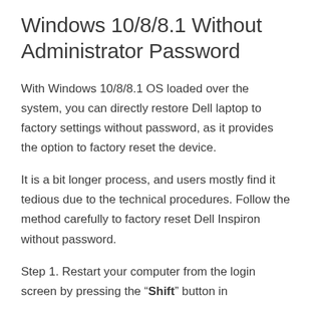Windows 10/8/8.1 Without Administrator Password
With Windows 10/8/8.1 OS loaded over the system, you can directly restore Dell laptop to factory settings without password, as it provides the option to factory reset the device.
It is a bit longer process, and users mostly find it tedious due to the technical procedures. Follow the method carefully to factory reset Dell Inspiron without password.
Step 1. Restart your computer from the login screen by pressing the “Shift” button in